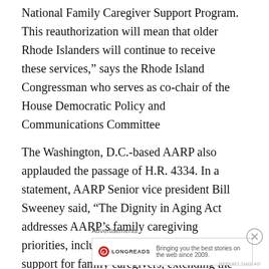National Family Caregiver Support Program. This reauthorization will mean that older Rhode Islanders will continue to receive these services," says the Rhode Island Congressman who serves as co-chair of the House Democratic Policy and Communications Committee
The Washington, D.C.-based AARP also applauded the passage of H.R. 4334. In a statement, AARP Senior vice president Bill Sweeney said, “The Dignity in Aging Act addresses AARP’s family caregiving priorities, including further strengthening support for family caregivers, extending the RAISE Family Caregivers Act, and providing increased funding levels for OAA programs. OAA programs provide services like home-delivered meals
Advertisements
[Figure (other): Longreads advertisement banner with logo and tagline: Bringing you the best stories on the web since 2009.]